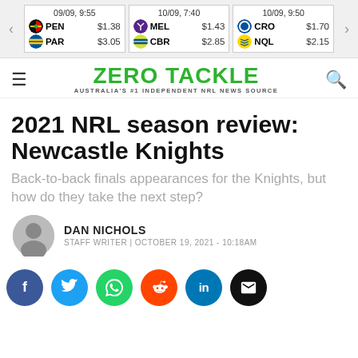[Figure (screenshot): Odds bar showing three upcoming NRL matches with team abbreviations and betting prices: 09/09 9:55 PEN $1.38 vs PAR $3.05; 10/09 7:40 MEL $1.43 vs CBR $2.85; 10/09 9:50 CRO $1.70 vs NQL $2.15]
ZERO TACKLE — AUSTRALIA'S #1 INDEPENDENT NRL NEWS SOURCE
2021 NRL season review: Newcastle Knights
Back-to-back finals appearances for the Knights, but how do they take the next step?
DAN NICHOLS — STAFF WRITER | OCTOBER 19, 2021 - 10:18AM